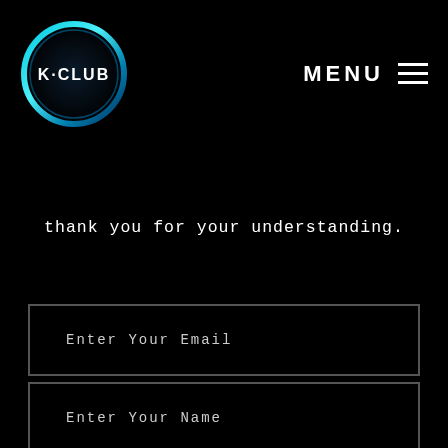[Figure (logo): K-CLUB logo: circular badge with cyan/teal gradient ring and K-CLUB text inside on dark background]
MENU ≡
thank you for your understanding.
Enter Your Email
Enter Your Name
Enter Your Contact Number